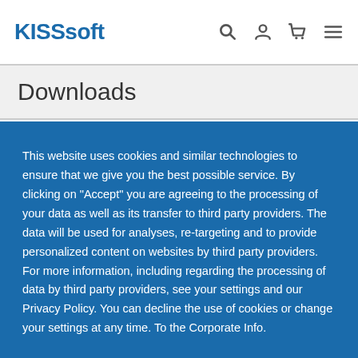KISSsoft
Downloads
This website uses cookies and similar technologies to ensure that we give you the best possible service. By clicking on "Accept" you are agreeing to the processing of your data as well as its transfer to third party providers. The data will be used for analyses, re-targeting and to provide personalized content on websites by third party providers. For more information, including regarding the processing of data by third party providers, see your settings and our Privacy Policy. You can decline the use of cookies or change your settings at any time. To the Corporate Info.
Accept